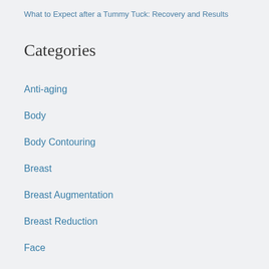What to Expect after a Tummy Tuck: Recovery and Results
Categories
Anti-aging
Body
Body Contouring
Breast
Breast Augmentation
Breast Reduction
Face
Facelifts
Health and Wellness
Injectables
Non-Surgical Options